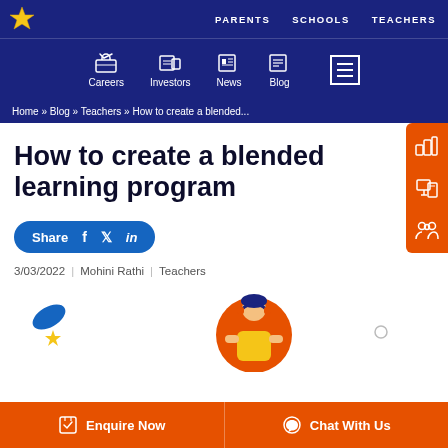PARENTS  SCHOOLS  TEACHERS
Careers  Investors  News  Blog
Home » Blog » Teachers » How to create a blended...
How to create a blended learning program
Share  f  y  in
3/03/2022  |  Mohini Rathi  |  Teachers
[Figure (illustration): Decorative illustration with blue leaf shape, yellow star, and cartoon boy with headphones on orange circle background]
Enquire Now    Chat With Us